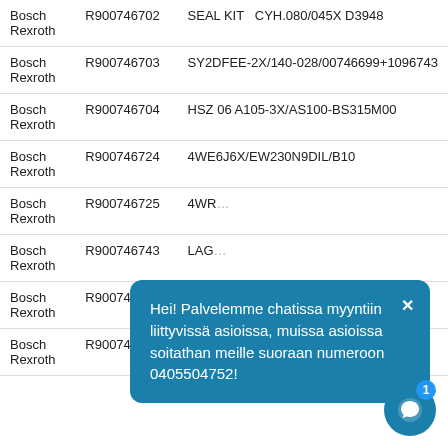| Brand | Part Number | Description |
| --- | --- | --- |
| Bosch Rexroth | R900746702 | SEAL KIT  CYH.080/045X D3948 |
| Bosch Rexroth | R900746703 | SY2DFEE-2X/140-028/00746699+1096743 |
| Bosch Rexroth | R900746704 | HSZ 06 A105-3X/AS100-BS315M00 |
| Bosch Rexroth | R900746724 | 4WE6J6X/EW230N9DIL/B10 |
| Bosch Rexroth | R900746725 | 4WR…  M |
| Bosch Rexroth | R900746743 | LAG… |
| Bosch Rexroth | R900746747 | DB 10 G2-3X/50X1 |
| Bosch Rexroth | R900746748 | DBAW 40 AH3N1X/315-6EG24NK4 |
Hei! Palvelemme chatissa myyntiin liittyvissä asioissa, muissa asioissa soitathan meille suoraan numeroon 0405504752!